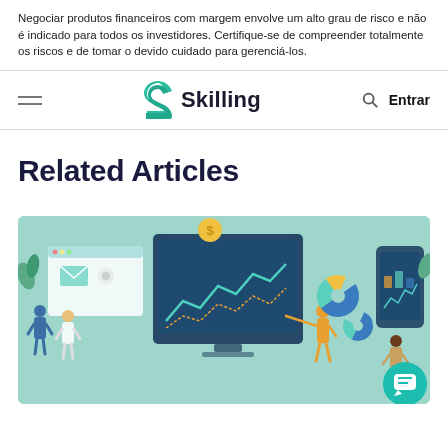Negociar produtos financeiros com margem envolve um alto grau de risco e não é indicado para todos os investidores. Certifique-se de compreender totalmente os riscos e de tomar o devido cuidado para gerenciá-los.
Skilling — Entrar
Related Articles
[Figure (illustration): Illustration with teal/mint background showing three scenes: left - two people by a web browser interface with mail and settings icons; center - person pointing at a large monitor displaying charts and graphs with pie charts nearby; right - person standing next to a smartphone showing charts. A teal chat bubble icon appears in the bottom right corner.]